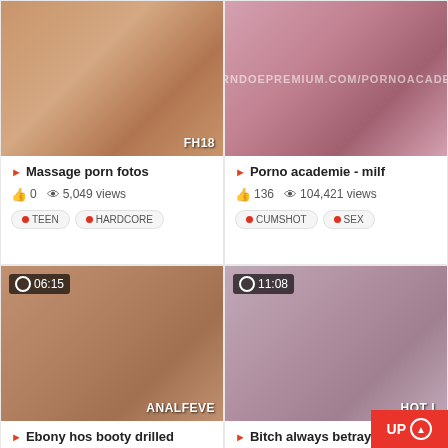[Figure (screenshot): Video thumbnail for Massage porn fotos with FH18 watermark]
Massage porn fotos
0 likes · 5,049 views
TEEN · HARDCORE
[Figure (screenshot): Video thumbnail for Porno academie - milf with RNDOEPREMIUM.COM/PORNOACADE watermark]
Porno academie - milf
136 likes · 104,421 views
CUMSHOT · SEX
[Figure (screenshot): Video thumbnail 06:15 for Ebony hos booty drilled with AnalFeve watermark]
Ebony hos booty drilled
17 likes · 11,493 views
[Figure (screenshot): Video thumbnail 11:08 for Bitch always betrays with HOT L watermark]
Bitch always betrays
67 likes · 33,483 views